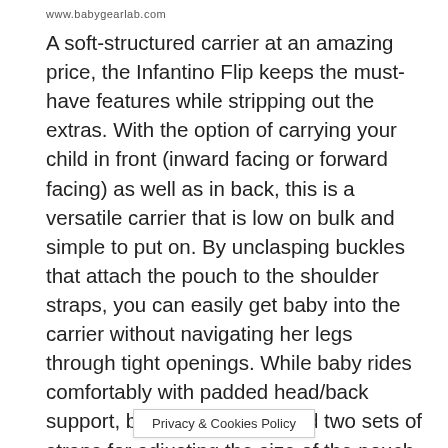www.babygearlab.com
A soft-structured carrier at an amazing price, the Infantino Flip keeps the must-have features while stripping out the extras. With the option of carrying your child in front (inward facing or forward facing) as well as in back, this is a versatile carrier that is low on bulk and simple to put on. By unclasping buckles that attach the pouch to the shoulder straps, you can easily get baby into the carrier without navigating her legs through tight openings. While baby rides comfortably with padded head/back support, breathable fabric and two sets of straps for adjusting the size of the pouch, the Flip can be less comfortable for the wearer—shoulder straps and waist strap are less padded than those on other carriers, making it less optimal for heavier children or longer periods of carrying. If you are on the taller side, try this carrier on before buying, [Privacy & Cookies Policy] sn't sit as
Privacy & Cookies Policy